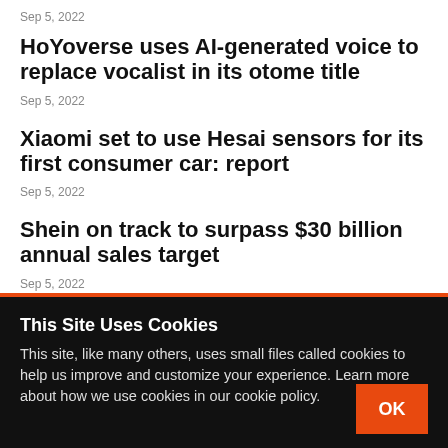Sep 5, 2022
HoYoverse uses AI-generated voice to replace vocalist in its otome title
Sep 5, 2022
Xiaomi set to use Hesai sensors for its first consumer car: report
Sep 5, 2022
Shein on track to surpass $30 billion annual sales target
Sep 5, 2022
This Site Uses Cookies
This site, like many others, uses small files called cookies to help us improve and customize your experience. Learn more about how we use cookies in our cookie policy.